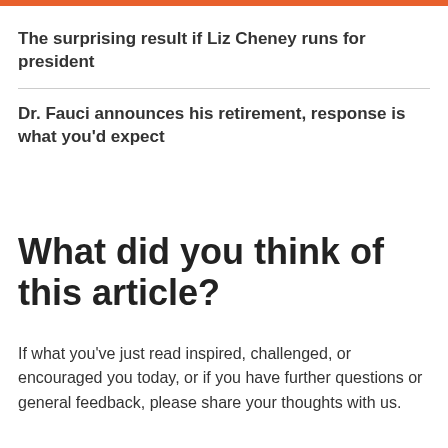The surprising result if Liz Cheney runs for president
Dr. Fauci announces his retirement, response is what you'd expect
What did you think of this article?
If what you've just read inspired, challenged, or encouraged you today, or if you have further questions or general feedback, please share your thoughts with us.